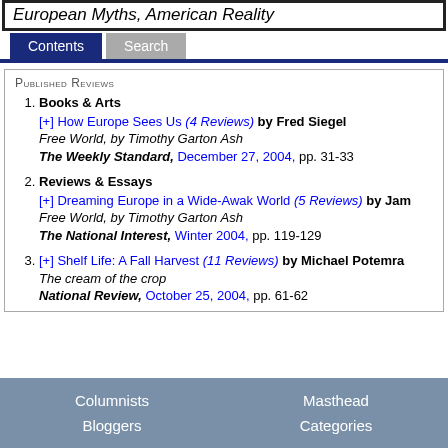European Myths, American Reality
Published Reviews
Books & Arts [+] How Europe Sees Us (4 Reviews) by Fred Siegel Free World, by Timothy Garton Ash The Weekly Standard, December 27, 2004, pp. 31-33
Reviews & Essays [+] Dreaming Europe in a Wide-Awak World (5 Reviews) by Jam... Free World, by Timothy Garton Ash The National Interest, Winter 2004, pp. 119-129
Shelf Life: A Fall Harvest (11 Reviews) by Michael Potemra The cream of the crop National Review, October 25, 2004, pp. 61-62
Columnists  Masthead  Bloggers  Categories